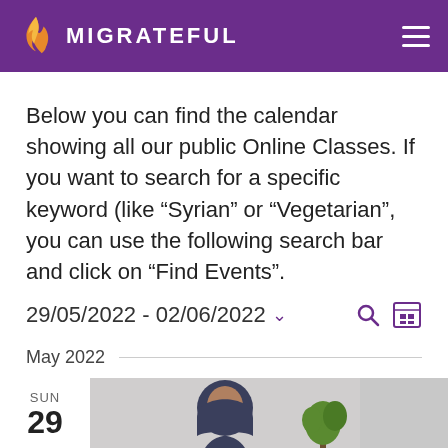MIGRATEFUL
Below you can find the calendar showing all our public Online Classes. If you want to search for a specific keyword (like “Syrian” or “Vegetarian”, you can use the following search bar and click on “Find Events”.
29/05/2022 - 02/06/2022
May 2022
[Figure (photo): A person in a dark hoodie smiling, photographed indoors with a plant visible in the background, under SUN 29 date indicator]